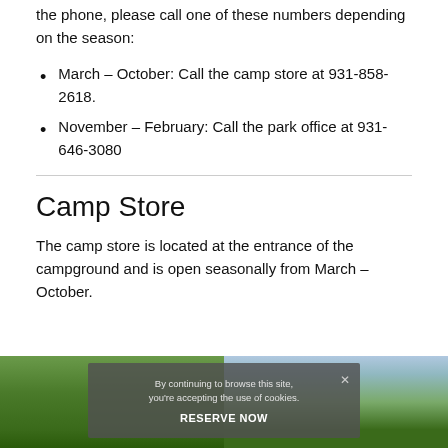the phone, please call one of these numbers depending on the season:
March – October: Call the camp store at 931-858-2618.
November – February: Call the park office at 931-646-3080
Camp Store
The camp store is located at the entrance of the campground and is open seasonally from March – October.
[Figure (photo): Two outdoor campground photos side by side showing trees and natural scenery, with a cookie consent overlay and RESERVE NOW button]
By continuing to browse this site, you're accepting the use of cookies.
RESERVE NOW